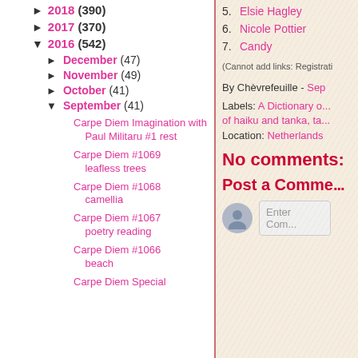► 2018 (390)
► 2017 (370)
▼ 2016 (542)
► December (47)
► November (49)
► October (41)
▼ September (41)
Carpe Diem Imagination with Paul Militaru #1 rest
Carpe Diem #1069 leafless trees
Carpe Diem #1068 camellia
Carpe Diem #1067 poetry reading
Carpe Diem #1066 beach
Carpe Diem Special
5.  Elsie Hagley
6.  Nicole Pottier
7.  Candy
(Cannot add links: Registrati
By Chèvrefeuille - Sep
Labels: A Dictionary o... of haiku and tanka, ta...
Location: Netherlands
No comments:
Post a Comme...
Enter Com...